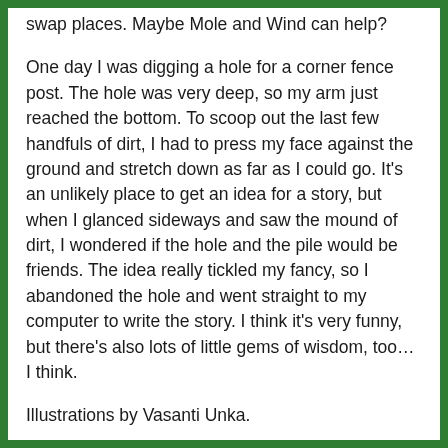swap places. Maybe Mole and Wind can help?
One day I was digging a hole for a corner fence post. The hole was very deep, so my arm just reached the bottom. To scoop out the last few handfuls of dirt, I had to press my face against the ground and stretch down as far as I could go. It's an unlikely place to get an idea for a story, but when I glanced sideways and saw the mound of dirt, I wondered if the hole and the pile would be friends. The idea really tickled my fancy, so I abandoned the hole and went straight to my computer to write the story. I think it's very funny, but there's also lots of little gems of wisdom, too… I think.
Illustrations by Vasanti Unka.